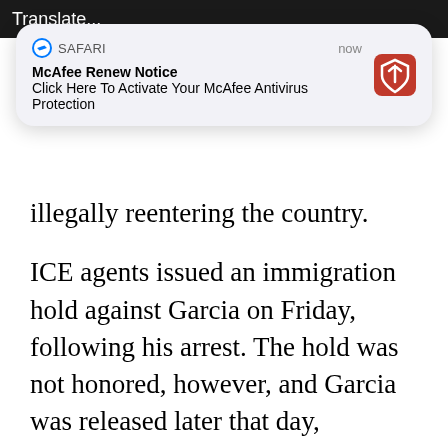[Figure (screenshot): Safari browser notification popup from McAfee: 'McAfee Renew Notice - Click Here To Activate Your McAfee Antivirus Protection' with McAfee logo, timestamp 'now']
illegally reentering the country.
ICE agents issued an immigration hold against Garcia on Friday, following his arrest. The hold was not honored, however, and Garcia was released later that day, unbeknownst to ICE.
“The Tulare County Sheriff’s Office is equally as frustrated with this situation,” Boudreaux said. “Because of California law, detainers can no longer be